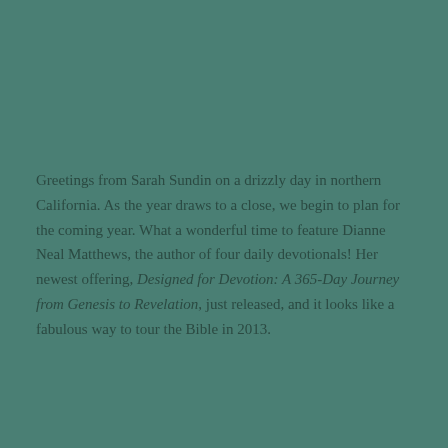Greetings from Sarah Sundin on a drizzly day in northern California. As the year draws to a close, we begin to plan for the coming year. What a wonderful time to feature Dianne Neal Matthews, the author of four daily devotionals! Her newest offering, Designed for Devotion: A 365-Day Journey from Genesis to Revelation, just released, and it looks like a fabulous way to tour the Bible in 2013.